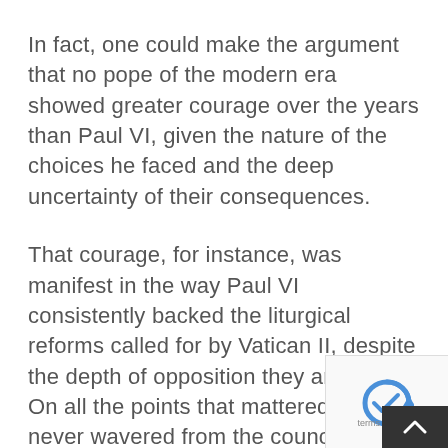In fact, one could make the argument that no pope of the modern era showed greater courage over the years than Paul VI, given the nature of the choices he faced and the deep uncertainty of their consequences.
That courage, for instance, was manifest in the way Paul VI consistently backed the liturgical reforms called for by Vatican II, despite the depth of opposition they aroused. On all the points that mattered, he never wavered from the council's basic vision, and the renewed worship in the vernacular languages that three generations of Catholics now take for granted is the